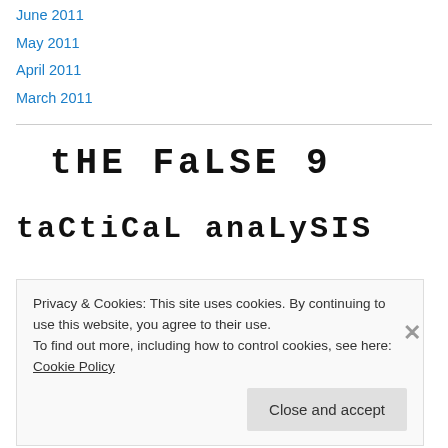June 2011
May 2011
April 2011
March 2011
tHE FaLSE 9
taCtiCaL anaLySIS
Privacy & Cookies: This site uses cookies. By continuing to use this website, you agree to their use.
To find out more, including how to control cookies, see here: Cookie Policy